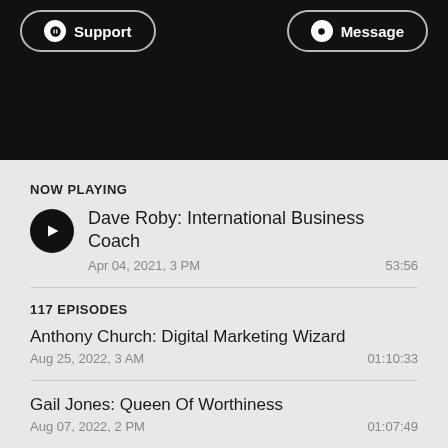[Figure (screenshot): Top black bar with Support and Message buttons]
NOW PLAYING
Dave Roby: International Business Coach
Apr 04, 2021, 3 PM  53:56
117 EPISODES
Anthony Church: Digital Marketing Wizard
Aug 25, 2022, 3 AM  01:10:33
Gail Jones: Queen Of Worthiness
Aug 07, 2022, 2 PM  01:07:49